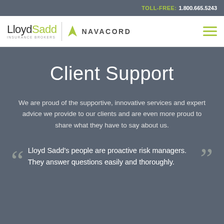TOLL-FREE: 1.800.665.5243
[Figure (logo): LloydSadd Insurance Brokers and Navacord logos with navigation hamburger menu]
Client Support
We are proud of the supportive, innovative services and expert advice we provide to our clients and are even more proud to share what they have to say about us.
Lloyd Sadd’s people are proactive risk managers. They answer questions easily and thoroughly.